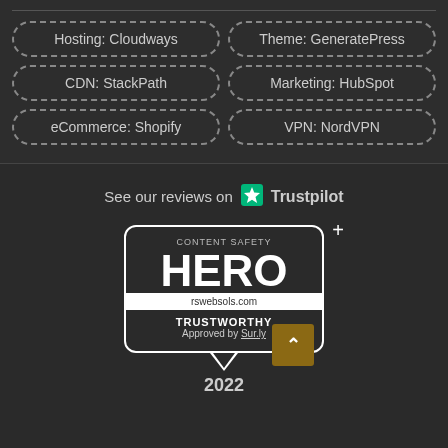Hosting: Cloudways
Theme: GeneratePress
CDN: StackPath
Marketing: HubSpot
eCommerce: Shopify
VPN: NordVPN
See our reviews on Trustpilot
[Figure (infographic): Content Safety Hero badge with rswebsols.com, TRUSTWORTHY, Approved by Sur.ly, 2022]